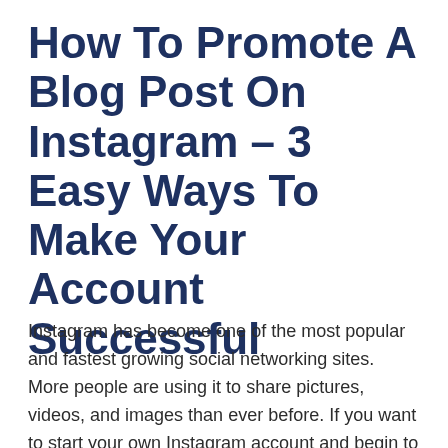How To Promote A Blog Post On Instagram – 3 Easy Ways To Make Your Account Successful
Instagram has become one of the most popular and fastest growing social networking sites. More people are using it to share pictures, videos, and images than ever before. If you want to start your own Instagram account and begin to market your website and online business, there are a few steps you should know about.